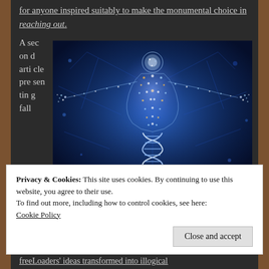for anyone inspired suitably to make the monumental choice in reaching out.
A second article presenting fall
[Figure (illustration): A glowing human figure with arms outstretched, composed of light particles, standing on a DNA double helix structure against a deep blue background with neural network-like light patterns.]
Privacy & Cookies: This site uses cookies. By continuing to use this website, you agree to their use.
To find out more, including how to control cookies, see here: Cookie Policy
freeLoaders' ideas transformed into illogical